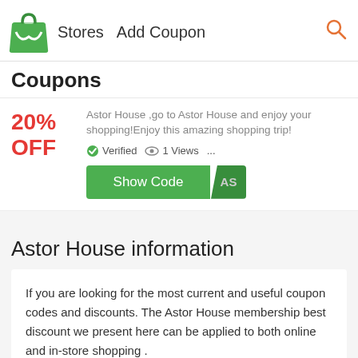Stores  Add Coupon
Coupons
20% OFF
Astor House ,go to Astor House and enjoy your shopping!Enjoy this amazing shopping trip!
Verified  1 Views  ...
Show Code  AS
Astor House information
If you are looking for the most current and useful coupon codes and discounts. The Astor House membership best discount we present here can be applied to both online and in-store shopping .